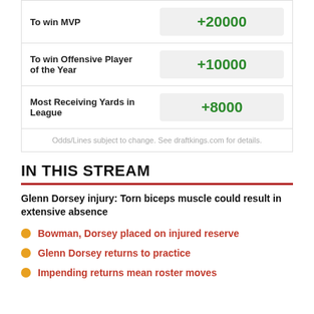|  |  |
| --- | --- |
| To win MVP | +20000 |
| To win Offensive Player of the Year | +10000 |
| Most Receiving Yards in League | +8000 |
Odds/Lines subject to change. See draftkings.com for details.
IN THIS STREAM
Glenn Dorsey injury: Torn biceps muscle could result in extensive absence
Bowman, Dorsey placed on injured reserve
Glenn Dorsey returns to practice
Impending returns mean roster moves